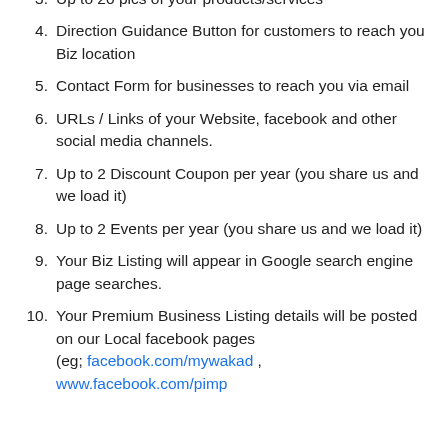3. Up to 20 pics of your products/services
4. Direction Guidance Button for customers to reach you Biz location
5. Contact Form for businesses to reach you via email
6. URLs / Links of your Website, facebook and other social media channels.
7. Up to 2 Discount Coupon per year (you share us and we load it)
8. Up to 2 Events per year (you share us and we load it)
9. Your Biz Listing will appear in Google search engine page searches.
10. Your Premium Business Listing details will be posted on our Local facebook pages (eg; facebook.com/mywakad , www.facebook.com/pimpl…